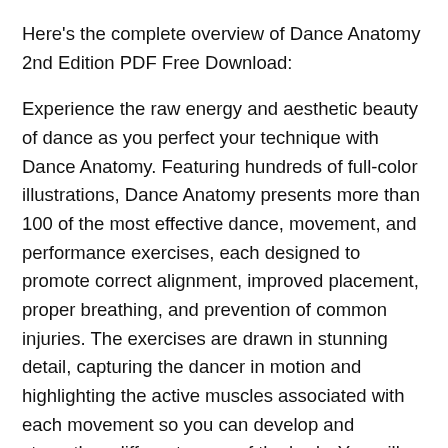Here's the complete overview of Dance Anatomy 2nd Edition PDF Free Download:
Experience the raw energy and aesthetic beauty of dance as you perfect your technique with Dance Anatomy. Featuring hundreds of full-color illustrations, Dance Anatomy presents more than 100 of the most effective dance, movement, and performance exercises, each designed to promote correct alignment, improved placement, proper breathing, and prevention of common injuries. The exercises are drawn in stunning detail, capturing the dancer in motion and highlighting the active muscles associated with each movement so you can develop and strengthen different areas of the body. You will clearly see how muscular development translates into greater poise and elegance on the stage.
Each chapter addresses a key principle of movement to help